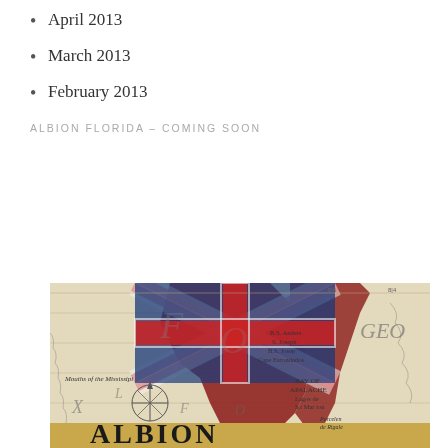April 2013
March 2013
February 2013
ALBION FLORIDA – COMING SOON
[Figure (illustration): Book cover for 'Albion Florida' showing a vintage historical map of Florida overlaid with a Union Jack (British flag) in red, white, and blue. The map shows geographical features, place names, compass rose, and the word ALBION in large letters at the bottom.]